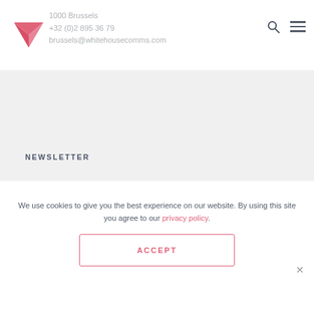1000 Brussels
+32 (0)2 895 36 79
brussels@whitehousecomms.com
NEWSLETTER
Sign-up for news and insights
Email
SIGN-UP
We use cookies to give you the best experience on our website. By using this site you agree to our privacy policy.
ACCEPT